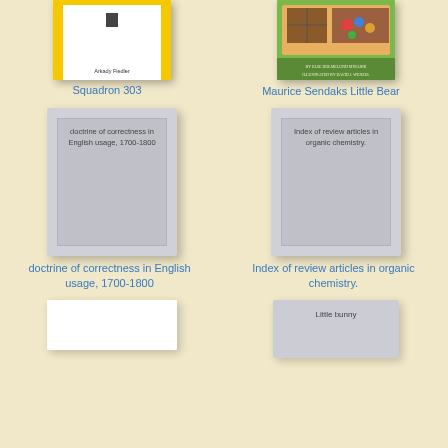[Figure (photo): Book cover for Squadron 303 with yellow background and white inner panel, author Arkady Fiedler]
Squadron 303
[Figure (photo): Book cover for Maurice Sendaks Little Bear with illustrated green background, credited to Else Holmelund Minarik illustrated by David J. Wenzel]
Maurice Sendaks Little Bear
[Figure (photo): Gray placeholder book cover with text: doctrine of correctness in English usage, 1700-1800]
doctrine of correctness in English usage, 1700-1800
[Figure (photo): Gray placeholder book cover with text: Index of review articles in organic chemistry.]
Index of review articles in organic chemistry.
[Figure (photo): White book cover, partially visible at bottom]
[Figure (photo): Gray placeholder book cover with text: Little bunny, partially visible at bottom]
Little bunny